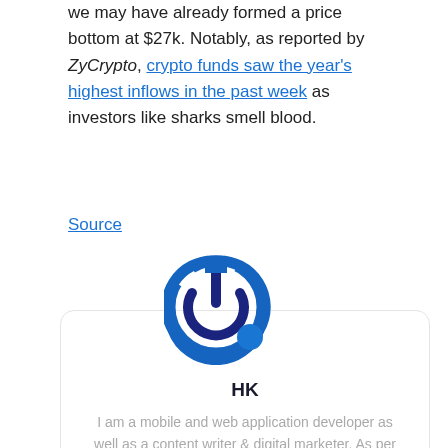we may have already formed a price bottom at $27k. Notably, as reported by ZyCrypto, crypto funds saw the year's highest inflows in the past week as investors like sharks smell blood.
Source
[Figure (logo): Circular blue power/tech logo with a small blue dot at lower right]
HK
I am a mobile and web application developer as well as a content writer & digital marketer. As per my experience, I blog about Blogging, and How to make money online with multiple different streams.